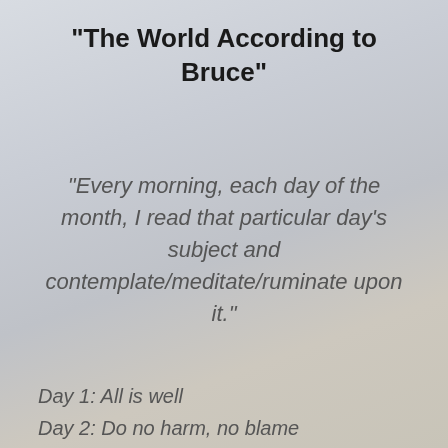“The World According to Bruce”
“Every morning, each day of the month, I read that particular day’s subject and contemplate/meditate/ruminate upon it.”
Day 1: All is well
Day 2: Do no harm, no blame